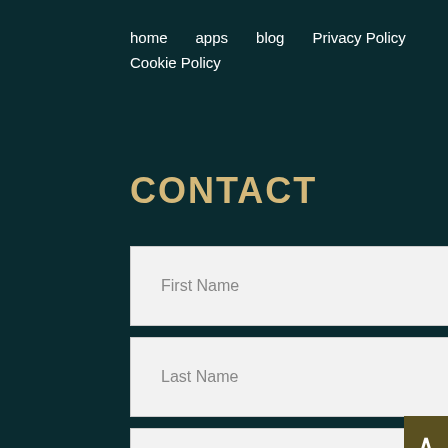home   apps   blog   Privacy Policy   Cookie Policy
CONTACT
First Name
Last Name
Email Address
Your Company
Your Message